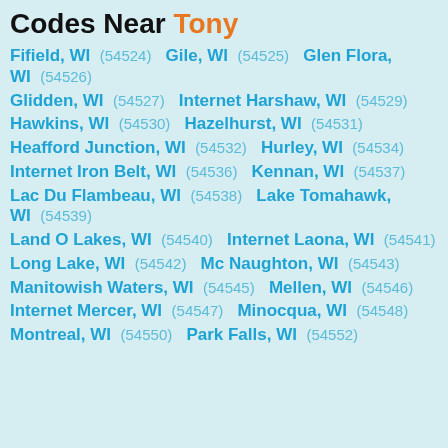Codes Near Tony
Fifield, WI (54524)  Gile, WI (54525)  Glen Flora, WI (54526)
Glidden, WI (54527)  Internet Harshaw, WI (54529)
Hawkins, WI (54530)  Hazelhurst, WI (54531)
Heafford Junction, WI (54532)  Hurley, WI (54534)
Internet Iron Belt, WI (54536)  Kennan, WI (54537)
Lac Du Flambeau, WI (54538)  Lake Tomahawk, WI (54539)
Land O Lakes, WI (54540)  Internet Laona, WI (54541)
Long Lake, WI (54542)  Mc Naughton, WI (54543)
Manitowish Waters, WI (54545)  Mellen, WI (54546)
Internet Mercer, WI (54547)  Minocqua, WI (54548)
Montreal, WI (54550)  Park Falls, WI (54552)